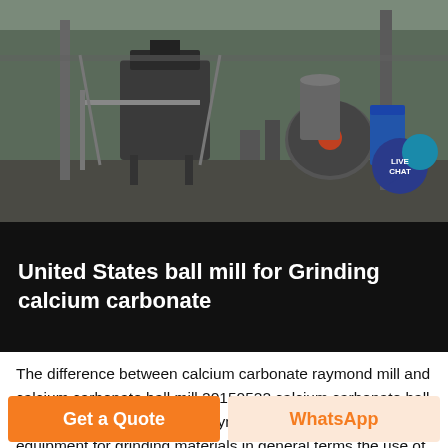[Figure (photo): Industrial machinery / ball mill equipment in a factory setting, grayscale tones]
United States ball mill for Grinding calcium carbonate
The difference between calcium carbonate raymond mill and calcium carbonate ball mill 20150522 calcium carbonate ball mill and calcium carbonate raymond mill are the key equipment for grinding materials in general terms the use of the two is the same it how to choose a suitable calcium carbonate grinding mill 20150521 we are all familiar
Get a Quote
WhatsApp